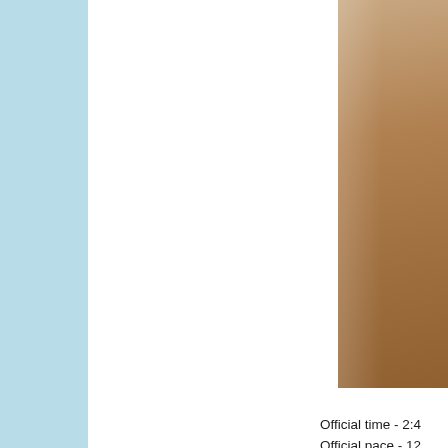[Figure (photo): Partial photo of a person, warm brown/earth tones, cropped on right side of page]
Official time - 2:4
Official pace - 12
Overall place - 1
Gender place - 6
Division place - 1
Garmin time - 2:4
Garmin distance
Garmin pace - 13
Mile 1 - 14:12
Mile 2 - 12:40
Mile 3 - 12:42
Mile 4 - 14:12
Mile 5 - 14:23
Mile 6 - 16:00
Mile 7 - 12:49